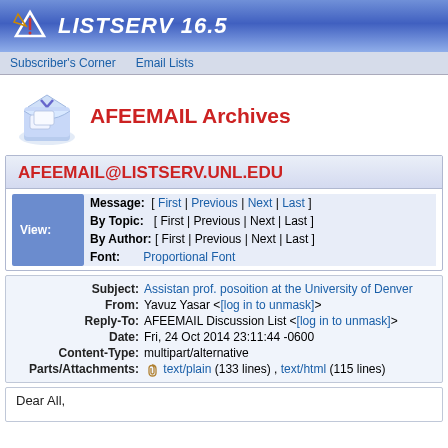LISTSERV 16.5
Subscriber's Corner  Email Lists
AFEEMAIL Archives
AFEEMAIL@LISTSERV.UNL.EDU
|  |  |
| --- | --- |
| Message: | [ First | Previous | Next | Last ] |
| By Topic: | [ First | Previous | Next | Last ] |
| By Author: | [ First | Previous | Next | Last ] |
| Font: | Proportional Font |
| Subject: | Assistan prof. posoition at the University of Denver |
| From: | Yavuz Yasar <[log in to unmask]> |
| Reply-To: | AFEEMAIL Discussion List <[log in to unmask]> |
| Date: | Fri, 24 Oct 2014 23:11:44 -0600 |
| Content-Type: | multipart/alternative |
| Parts/Attachments: | text/plain (133 lines) , text/html (115 lines) |
Dear All,